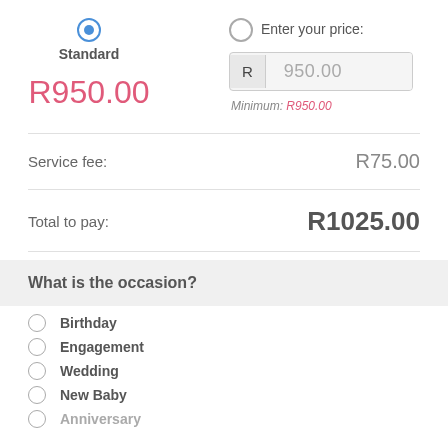Standard
R950.00
Enter your price:
R  950.00
Minimum: R950.00
Service fee:  R75.00
Total to pay:  R1025.00
What is the occasion?
Birthday
Engagement
Wedding
New Baby
Anniversary